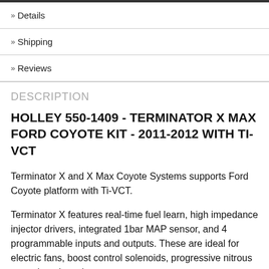» Details
» Shipping
» Reviews
DESCRIPTION
HOLLEY 550-1409 - TERMINATOR X MAX FORD COYOTE KIT - 2011-2012 WITH TI-VCT
Terminator X and X Max Coyote Systems supports Ford Coyote platform with Ti-VCT.
Terminator X features real-time fuel learn, high impedance injector drivers, integrated 1bar MAP sensor, and 4 programmable inputs and outputs. These are ideal for electric fans, boost control solenoids, progressive nitrous control, and much more.